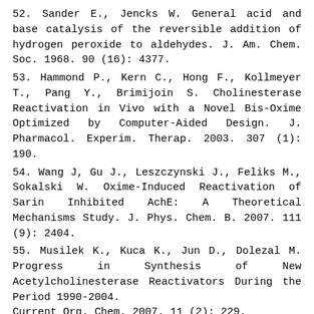52. Sander E., Jencks W. General acid and base catalysis of the reversible addition of hydrogen peroxide to aldehydes. J. Am. Chem. Soc. 1968. 90 (16): 4377.
53. Hammond P., Kern C., Hong F., Kollmeyer T., Pang Y., Brimijoin S. Cholinesterase Reactivation in Vivo with a Novel Bis-Oxime Optimized by Computer-Aided Design. J. Pharmacol. Experim. Therap. 2003. 307 (1): 190.
54. Wang J, Gu J., Leszczynski J., Feliks M., Sokalski W. Oxime-Induced Reactivation of Sarin Inhibited AchE: A Theoretical Mechanisms Study. J. Phys. Chem. B. 2007. 111 (9): 2404.
55. Musilek K., Kuca K., Jun D., Dolezal M. Progress in Synthesis of New Acetylcholinesterase Reactivators During the Period 1990-2004.
Current Org. Chem. 2007. 11 (2): 229.
56. Kassa J., Kuca K., Bartosova L., Kunesova G. The Development of New Structural Analogues of Oximes for the Antidotal Treatment of Poisoning by Nerve Agents and the Comparison of Their Reactivating and